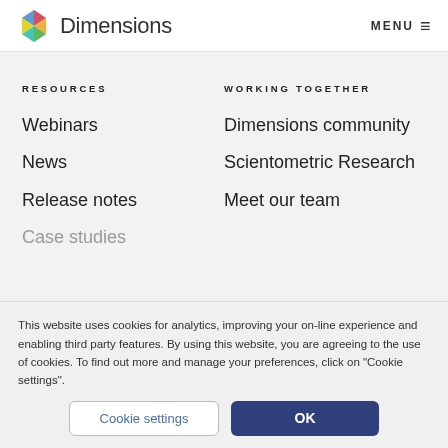Dimensions  MENU ≡
RESOURCES
Webinars
News
Release notes
Case studies
WORKING TOGETHER
Dimensions community
Scientometric Research
Meet our team
This website uses cookies for analytics, improving your on-line experience and enabling third party features. By using this website, you are agreeing to the use of cookies. To find out more and manage your preferences, click on "Cookie settings".
Cookie settings | OK